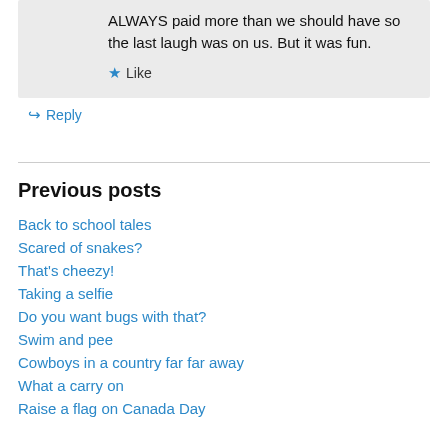ALWAYS paid more than we should have so the last laugh was on us. But it was fun.
★ Like
↳ Reply
Previous posts
Back to school tales
Scared of snakes?
That's cheezy!
Taking a selfie
Do you want bugs with that?
Swim and pee
Cowboys in a country far far away
What a carry on
Raise a flag on Canada Day